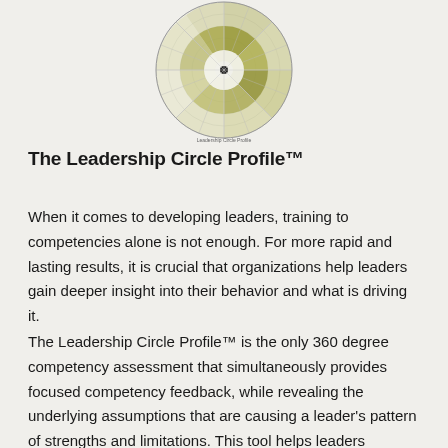[Figure (radar-chart): A circular radar/spider chart known as the Leadership Circle Profile, showing segments with olive/green shading radiating from center. Multiple concentric rings divide the chart into inner and outer sections. The chart has fine grid lines and labeled sections.]
The Leadership Circle Profile™
When it comes to developing leaders, training to competencies alone is not enough. For more rapid and lasting results, it is crucial that organizations help leaders gain deeper insight into their behavior and what is driving it.
The Leadership Circle Profile™ is the only 360 degree competency assessment that simultaneously provides focused competency feedback, while revealing the underlying assumptions that are causing a leader's pattern of strengths and limitations. This tool helps leaders